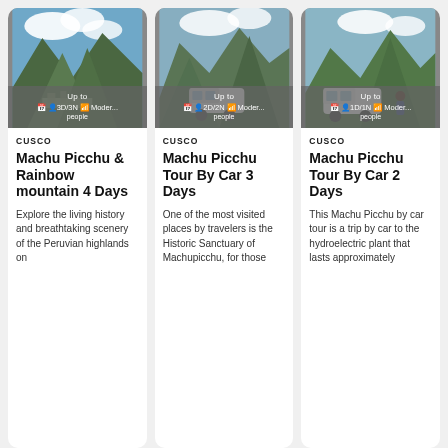[Figure (photo): Machu Picchu mountain landscape with clouds]
Up to
3D/3N · Moderate · people
CUSCO
Machu Picchu & Rainbow mountain 4 Days
Explore the living history and breathtaking scenery of the Peruvian highlands on
[Figure (photo): Machu Picchu with camper van and mountain backdrop]
Up to
2D/2N · Moderate · people
CUSCO
Machu Picchu Tour By Car 3 Days
One of the most visited places by travelers is the Historic Sanctuary of Machupicchu, for those
[Figure (photo): Machu Picchu with white van and mountain backdrop]
Up to
1D/1N · Moderate · people
CUSCO
Machu Picchu Tour By Car 2 Days
This Machu Picchu by car tour is a trip by car to the hydroelectric plant that lasts approximately